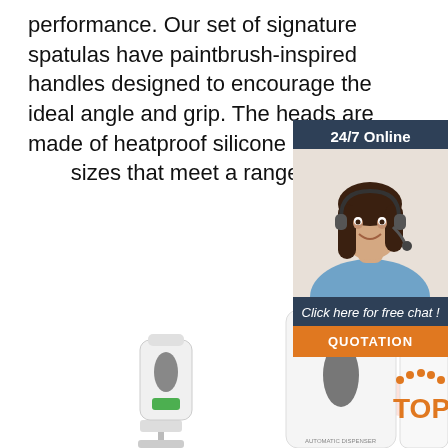performance. Our set of signature spatulas have paintbrush-inspired handles designed to encourage the ideal angle and grip. The heads are made of heatproof silicone in shapes and sizes that meet a range of tasks.
Get Price
[Figure (photo): Sidebar widget showing a customer service representative (woman with headset) with '24/7 Online' header, 'Click here for free chat!' text, and QUOTATION button]
[Figure (photo): Product images of automatic hand sanitizer/soap dispensers, one on a stand with a sensor beam shown, another close-up view]